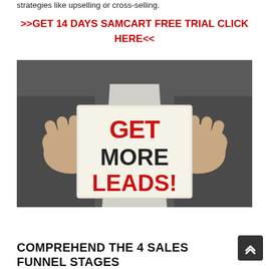strategies like upselling or cross-selling.
>>GET 14 DAYS SAMCART FREE TRIAL CLICK HERE<<
[Figure (photo): Person in a suit holding a white card that reads GET MORE LEADS! in bold red and dark text]
COMPREHEND THE 4 SALES FUNNEL STAGES